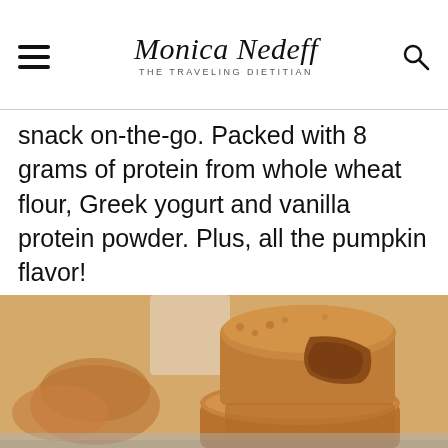Monica Nedeff THE TRAVELING DIETITIAN
snack on-the-go. Packed with 8 grams of protein from whole wheat flour, Greek yogurt and vanilla protein powder. Plus, all the pumpkin flavor!
[Figure (photo): Stack of two pumpkin protein muffins with a bite taken out of the top one, surrounded by more muffins in soft focus background. Muffins are golden-brown with a dense, moist crumb texture.]